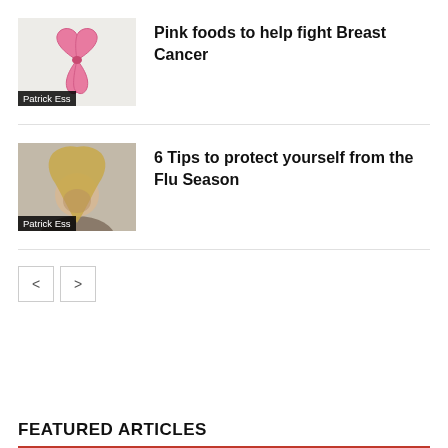[Figure (photo): Pink breast cancer awareness ribbon on white background with author label 'Patrick Ess']
Pink foods to help fight Breast Cancer
[Figure (photo): Woman with head bowed and blonde hair covering face, with author label 'Patrick Ess']
6 Tips to protect yourself from the Flu Season
FEATURED ARTICLES